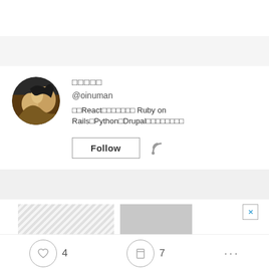[Figure (screenshot): Social media profile page showing a user profile with avatar (horse photo), display name in Japanese characters, username @oinuman, bio text about React/Ruby on Rails/Python/Drupal, Follow button, RSS icon, action bar with heart icon (4), bookmark icon (7), and ellipsis menu.]